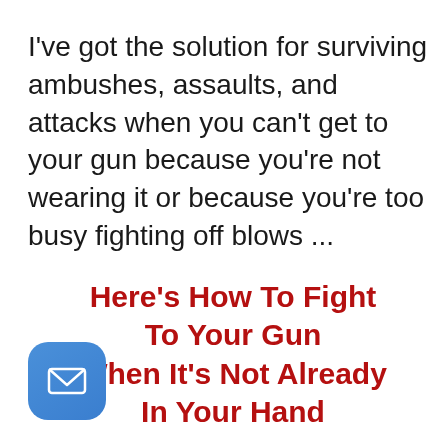I've got the solution for surviving ambushes, assaults, and attacks when you can't get to your gun because you're not wearing it or because you're too busy fighting off blows ...
Here's How To Fight To Your Gun When It's Not Already In Your Hand
[Figure (illustration): Email/message app icon: rounded square blue button with white envelope icon]